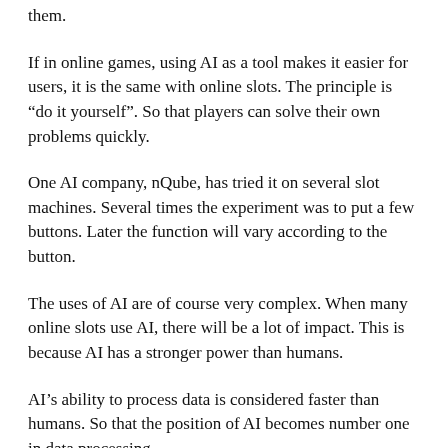them.
If in online games, using AI as a tool makes it easier for users, it is the same with online slots. The principle is “do it yourself”. So that players can solve their own problems quickly.
One AI company, nQube, has tried it on several slot machines. Several times the experiment was to put a few buttons. Later the function will vary according to the button.
The uses of AI are of course very complex. When many online slots use AI, there will be a lot of impact. This is because AI has a stronger power than humans.
AI’s ability to process data is considered faster than humans. So that the position of AI becomes number one in data processing.